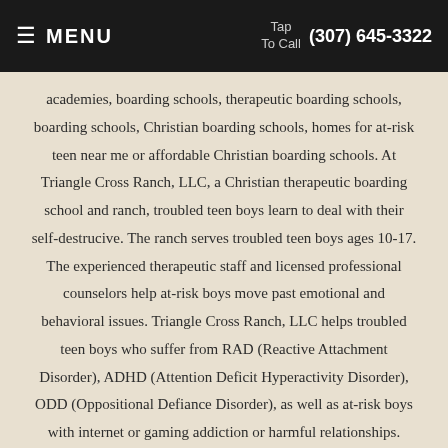MENU | Tap To Call (307) 645-3322
academies, boarding schools, therapeutic boarding schools, boarding schools, Christian boarding schools, homes for at-risk teen near me or affordable Christian boarding schools. At Triangle Cross Ranch, LLC, a Christian therapeutic boarding school and ranch, troubled teen boys learn to deal with their self-destrucive. The ranch serves troubled teen boys ages 10-17. The experienced therapeutic staff and licensed professional counselors help at-risk boys move past emotional and behavioral issues. Triangle Cross Ranch, LLC helps troubled teen boys who suffer from RAD (Reactive Attachment Disorder), ADHD (Attention Deficit Hyperactivity Disorder), ODD (Oppositional Defiance Disorder), as well as at-risk boys with internet or gaming addiction or harmful relationships. Triangle Cross staff know how to connect with at-risk boys and their families. The 50,000-acre ranch campus in rural WY contains a shop for teaching welding, carpentry, and other vocational training. We serve teens from Midwest cities like Chicago, Illinois, Indianapolis, Indiana, Columbus, Ohio, Detroit, Michigan, Milwaukee